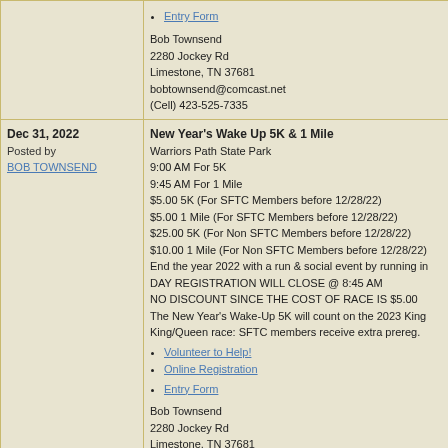| Date/Posted | Event Details |
| --- | --- |
| (continuation) | • Entry Form

Bob Townsend
2280 Jockey Rd
Limestone, TN 37681
bobtownsend@comcast.net
(Cell) 423-525-7335 |
| Dec 31, 2022
Posted by
BOB TOWNSEND | New Year's Wake Up 5K & 1 Mile
Warriors Path State Park
9:00 AM For 5K
9:45 AM For 1 Mile
$5.00 5K (For SFTC Members before 12/28/22)
$5.00 1 Mile (For SFTC Members before 12/28/22)
$25.00 5K (For Non SFTC Members before 12/28/22)
$10.00 1 Mile (For Non SFTC Members before 12/28/22)
End the year 2022 with a run & social event by running in
DAY REGISTRATION WILL CLOSE @ 8:45 AM
NO DISCOUNT SINCE THE COST OF RACE IS $5.00
The New Year's Wake-Up 5K will count on the 2023 King
King/Queen race: SFTC members receive extra prereg.
• Volunteer to Help!
• Online Registration
• Entry Form

Bob Townsend
2280 Jockey Rd
Limestone, TN 37681
bobtownsend@comcast.net
423-525-7335 |
(separator row)
10th Annual FRC Kingsport Area in One 5K and 1... (partial)